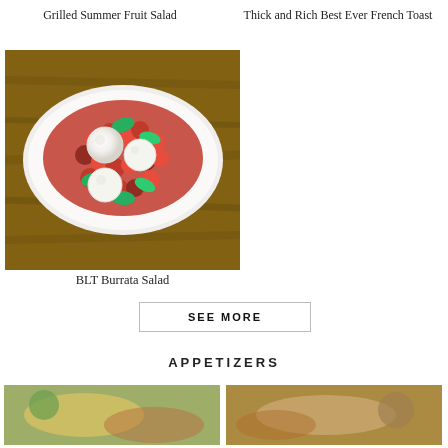Grilled Summer Fruit Salad
Thick and Rich Best Ever French Toast
[Figure (photo): Overhead photo of a BLT Burrata Salad on a white oval platter, showing cherry tomatoes, bacon, and burrata cheese balls garnished with fresh basil leaves, on a wooden surface.]
BLT Burrata Salad
SEE MORE
APPETIZERS
[Figure (photo): Partial image of an appetizer dish on the bottom left.]
[Figure (photo): Partial image of an appetizer dish on the bottom right.]